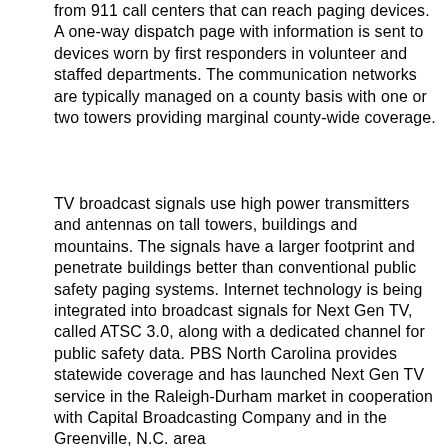from 911 call centers that can reach paging devices. A one-way dispatch page with information is sent to devices worn by first responders in volunteer and staffed departments. The communication networks are typically managed on a county basis with one or two towers providing marginal county-wide coverage.
TV broadcast signals use high power transmitters and antennas on tall towers, buildings and mountains. The signals have a larger footprint and penetrate buildings better than conventional public safety paging systems. Internet technology is being integrated into broadcast signals for Next Gen TV, called ATSC 3.0, along with a dedicated channel for public safety data. PBS North Carolina provides statewide coverage and has launched Next Gen TV service in the Raleigh-Durham market in cooperation with Capital Broadcasting Company and in the Greenville, N.C. area